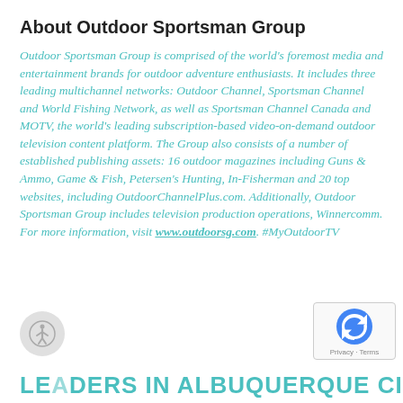About Outdoor Sportsman Group
Outdoor Sportsman Group is comprised of the world's foremost media and entertainment brands for outdoor adventure enthusiasts. It includes three leading multichannel networks: Outdoor Channel, Sportsman Channel and World Fishing Network, as well as Sportsman Channel Canada and MOTV, the world's leading subscription-based video-on-demand outdoor television content platform. The Group also consists of a number of established publishing assets: 16 outdoor magazines including Guns & Ammo, Game & Fish, Petersen's Hunting, In-Fisherman and 20 top websites, including OutdoorChannelPlus.com. Additionally, Outdoor Sportsman Group includes television production operations, Winnercomm. For more information, visit www.outdoorsg.com. #MyOutdoorTV
LEADERS IN ALBUQUERQUE CITY